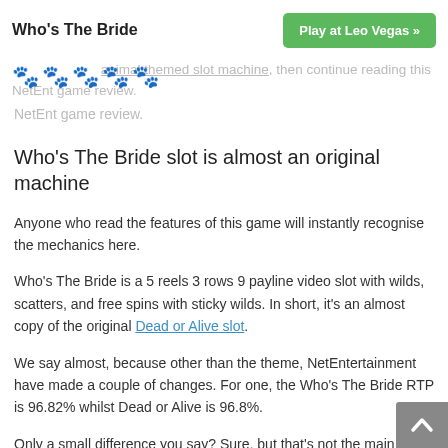Who's The Bride | Play at Leo Vegas »
[Figure (other): Paw print icons (5 green paw prints) used as a rating graphic]
If you're on onboard with the historical aspect of women being treated like chattel or happy to ignore this pretty animal themed slot machine, then continue reading this NetEnt game review.
Who's The Bride slot is almost an original machine
Anyone who read the features of this game will instantly recognise the mechanics here.
Who's The Bride is a 5 reels 3 rows 9 payline video slot with wilds, scatters, and free spins with sticky wilds. In short, it's an almost copy of the original Dead or Alive slot.
We say almost, because other than the theme, NetEntertainment have made a couple of changes. For one, the Who's The Bride RTP is 96.82% whilst Dead or Alive is 96.8%.
Only a small difference you say? Sure, but that's not the main change. The main change is that the top win here is ££€$45,000 on a single line win instead of ££$34,000 of Dead or Alive. In